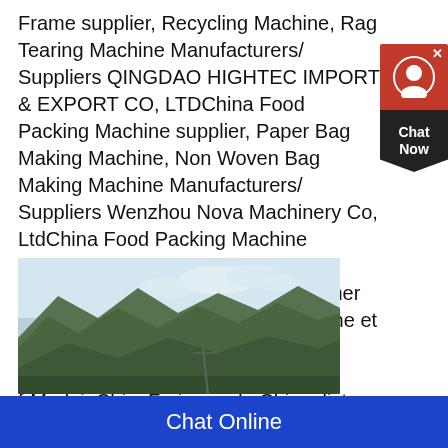Frame supplier, Recycling Machine, Rag Tearing Machine Manufacturers/ Suppliers QINGDAO HIGHTEC IMPORT & EXPORT CO, LTDChina Food Packing Machine supplier, Paper Bag Making Machine, Non Woven Bag Making Machine Manufacturers/ Suppliers Wenzhou Nova Machinery Co, LtdChina Food Packing Machine manufacturer, Paper Bag MakingFraisage de Chine, Rechercher liste de produits de Fraisage de Chine et de fabricants & de fournisseurs de Fraisage de Chine sur frMadeinChinaFraisage de Chine, liste de produits Fraisage de Chine sur
[Figure (photo): Landscape photo of green mountains and forested hills with a partly cloudy sky, taken from a valley or cable car vantage point.]
Chat Online